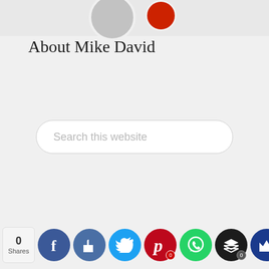[Figure (photo): Partial view of two avatar/profile images at the top of a sidebar widget]
About Mike David
Search this website
[Figure (infographic): Social sharing bar with share count (0 Shares) and icons for Facebook, Like, Twitter, Pinterest, WhatsApp, Buffer, and a crown/royalty icon]